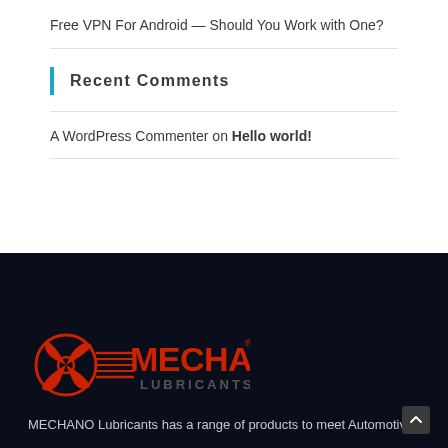Free VPN For Android — Should You Work with One?
Recent Comments
A WordPress Commenter on Hello world!
[Figure (logo): Mechano Lubricants logo — red stylized wheel/fan icon with horizontal speed lines and bold red text MECHANO with grey text LUBRICANTS below]
MECHANO Lubricants has a range of products to meet Automotive